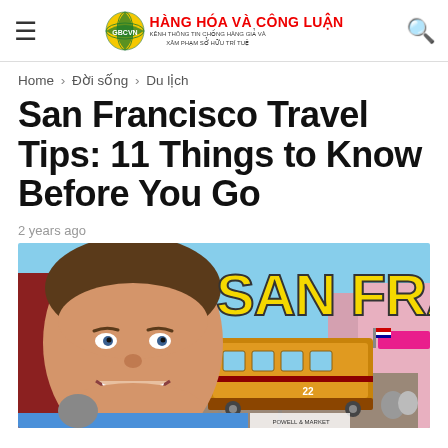HÀNG HÓA VÀ CÔNG LUẬN | GBCVN | KÊNH THÔNG TIN CHỐNG HÀNG GIẢ VÀ XÂM PHẠM SỞ HỮU TRÍ TUỆ
Home › Đời sống › Du lịch
San Francisco Travel Tips: 11 Things to Know Before You Go
2 years ago
[Figure (photo): A smiling man's face with a San Francisco cable car and city street scene behind him, with large yellow text reading 'SAN FRAN' overlaid on the right side.]